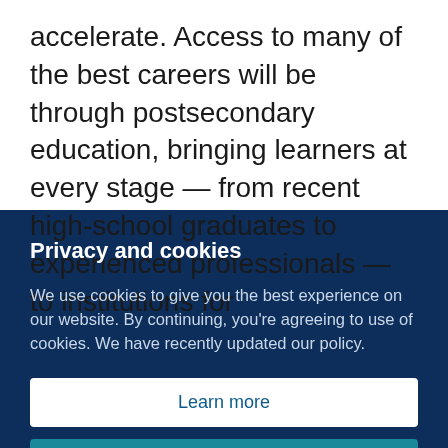accelerate. Access to many of the best careers will be through postsecondary education, bringing learners at every stage — from recent high-school graduates to experienced professionals — to institutions for
Privacy and cookies
We use cookies to give you the best experience on our website. By continuing, you're agreeing to use of cookies. We have recently updated our policy.
Learn more
Close this message and continue >